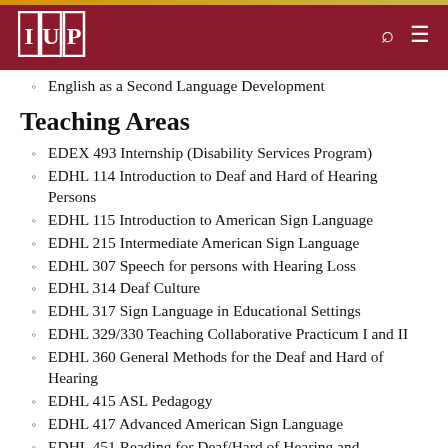IUP
English as a Second Language Development
Teaching Areas
EDEX 493 Internship (Disability Services Program)
EDHL 114 Introduction to Deaf and Hard of Hearing Persons
EDHL 115 Introduction to American Sign Language
EDHL 215 Intermediate American Sign Language
EDHL 307 Speech for persons with Hearing Loss
EDHL 314 Deaf Culture
EDHL 317 Sign Language in Educational Settings
EDHL 329/330 Teaching Collaborative Practicum I and II
EDHL 360 General Methods for the Deaf and Hard of Hearing
EDHL 415 ASL Pedagogy
EDHL 417 Advanced American Sign Language
EDHL 451 Reading for Deaf/Hard of Hearing and